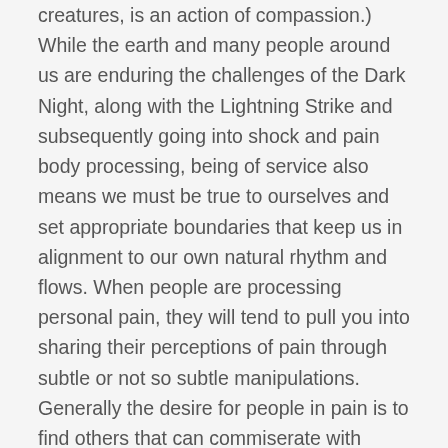creatures, is an action of compassion.) While the earth and many people around us are enduring the challenges of the Dark Night, along with the Lightning Strike and subsequently going into shock and pain body processing, being of service also means we must be true to ourselves and set appropriate boundaries that keep us in alignment to our own natural rhythm and flows. When people are processing personal pain, they will tend to pull you into sharing their perceptions of pain through subtle or not so subtle manipulations. Generally the desire for people in pain is to find others that can commiserate with them, and this may look like emotional bait hooks trying to reel you into their perceptions. The best service you can be to the earth, is to love yourself